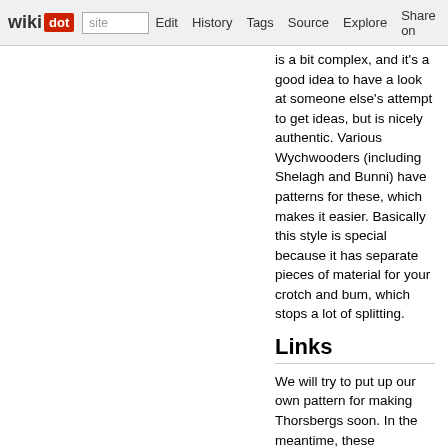wikidot | site Edit History Tags Source Explore Share on [twitter]
is a bit complex, and it's a good idea to have a look at someone else's attempt to get ideas, but is nicely authentic. Various Wychwooders (including Shelagh and Bunni) have patterns for these, which makes it easier. Basically this style is special because it has separate pieces of material for your crotch and bum, which stops a lot of splitting.
Links
We will try to put up our own pattern for making Thorsbergs soon. In the meantime, these webpages offer good advice:
The Vikings! Basic Kit Guide - Trousers includes